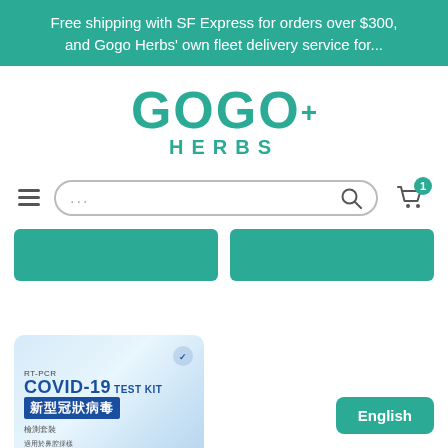Free shipping with SF Express for orders over $300, and Gogo Herbs' own fleet delivery service for...
[Figure (logo): Gogo Herbs logo with GOGO+ in large teal letters and HERBS below]
[Figure (screenshot): Navigation bar with hamburger menu, search box with ellipsis placeholder, search icon, and shopping cart icon with badge showing 1]
[Figure (screenshot): Two teal call-to-action buttons partially visible]
[Figure (photo): RT-PCR COVID-19 Test Kit box product image with Chinese text 新型冠狀病毒 and gold badge]
English